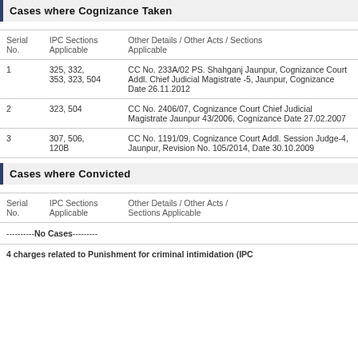Cases where Cognizance Taken
| Serial No. | IPC Sections Applicable | Other Details / Other Acts / Sections Applicable |
| --- | --- | --- |
| 1 | 325, 332, 353, 323, 504 | CC No. 233A/02 PS. Shahganj Jaunpur, Cognizance Court Addl. Chief Judicial Magistrate -5, Jaunpur, Cognizance Date 26.11.2012 |
| 2 | 323, 504 | CC No. 2406/07, Cognizance Court Chief Judicial Magistrate Jaunpur 43/2006, Cognizance Date 27.02.2007 |
| 3 | 307, 506, 120B | CC No. 1191/09, Cognizance Court Addl. Session Judge-4, Jaunpur, Revision No. 105/2014, Date 30.10.2009 |
Cases where Convicted
| Serial No. | IPC Sections Applicable | Other Details / Other Acts / Sections Applicable |
| --- | --- | --- |
| ----------No Cases--------- |  |  |
4 charges related to Punishment for criminal intimidation (IPC